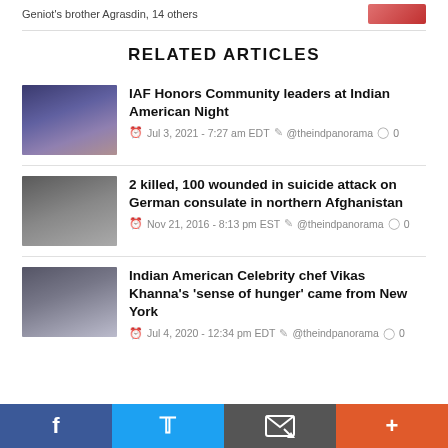Geniot's brother Agrasdin, 14 others
RELATED ARTICLES
IAF Honors Community leaders at Indian American Night
Jul 3, 2021 - 7:27 am EDT  @theindpanorama  0
2 killed, 100 wounded in suicide attack on German consulate in northern Afghanistan
Nov 21, 2016 - 8:13 pm EST  @theindpanorama  0
Indian American Celebrity chef Vikas Khanna's 'sense of hunger' came from New York
Jul 4, 2020 - 12:34 pm EDT  @theindpanorama  0